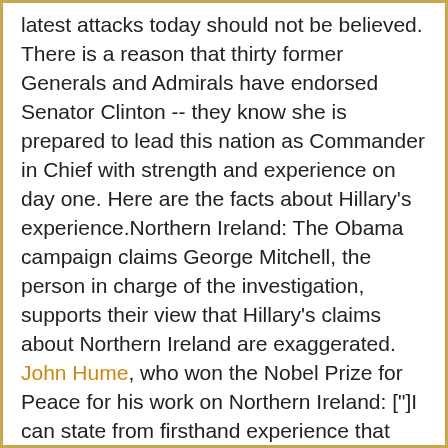latest attacks today should not be believed. There is a reason that thirty former Generals and Admirals have endorsed Senator Clinton -- they know she is prepared to lead this nation as Commander in Chief with strength and experience on day one. Here are the facts about Hillary's experience.Northern Ireland: The Obama campaign claims George Mitchell, the person in charge of the investigation, supports their view that Hillary's claims about Northern Ireland are exaggerated. John Hume, who won the Nobel Prize for Peace for his work on Northern Ireland: ["]I can state from firsthand experience that she played a positive role for over a decade in helping to bring peace to Northern Ireland... Anyone criticizing her foreign policy involvement should look at her very active and positive approach to Northern Ireland and speak with the people of Northern Ireland who have the highest regard for her and are very grateful for her very active support for our peace process.["] George Mitchell, who is cited in the Obama memo as an authoritative source, told Katie Couric last night that Hillary played "a helpful and supportive role" in Northern Ireland that ended up making "a difference in the process." He described what Hillary has said about her role as "accurate."